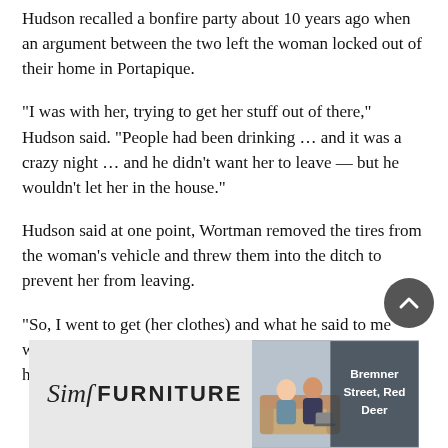Hudson recalled a bonfire party about 10 years ago when an argument between the two left the woman locked out of their home in Portapique.
“I was with her, trying to get her stuff out of there,” Hudson said. “People had been drinking … and it was a crazy night … and he didn’t want her to leave — but he wouldn’t let her in the house.”
Hudson said at one point, Wortman removed the tires from the woman’s vehicle and threw them into the ditch to prevent her from leaving.
“So, I went to get (her clothes) and what he said to me was: ‘I don’t want anyone in my house. If you come in my house,
[Figure (illustration): Sims Furniture advertisement banner with logo on left and people sitting on a couch on the right, with text overlay 'Bremner Street, Red Deer']